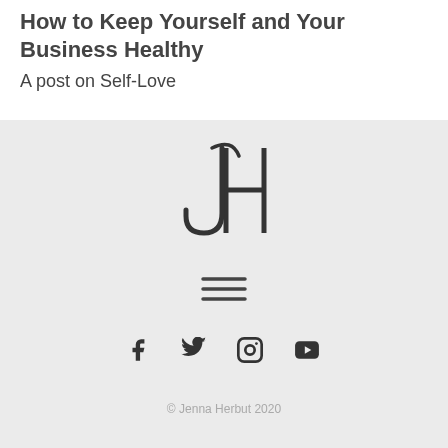How to Keep Yourself and Your Business Healthy
A post on Self-Love
[Figure (logo): JH monogram logo — stylized J and H letters intertwined in dark serif style]
[Figure (other): Hamburger menu icon — three horizontal lines]
[Figure (other): Social media icons: Facebook, Twitter, Instagram, YouTube]
© Jenna Herbut 2020